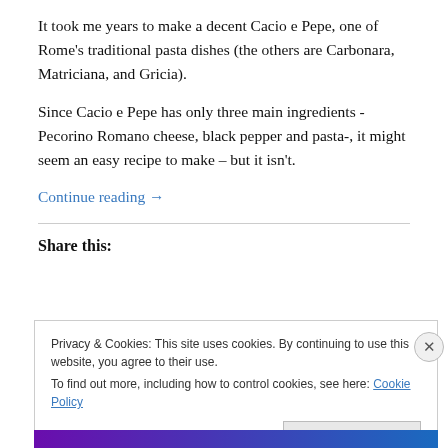It took me years to make a decent Cacio e Pepe, one of Rome's traditional pasta dishes (the others are Carbonara, Matriciana, and Gricia).
Since Cacio e Pepe has only three main ingredients - Pecorino Romano cheese, black pepper and pasta-, it might seem an easy recipe to make – but it isn't.
Continue reading →
Share this:
Privacy & Cookies: This site uses cookies. By continuing to use this website, you agree to their use.
To find out more, including how to control cookies, see here: Cookie Policy
Close and accept